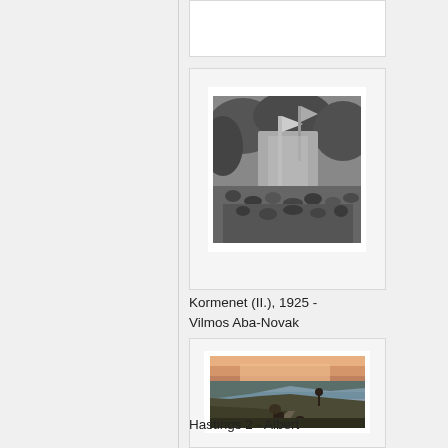[Figure (illustration): Partially visible artwork card at top of page]
[Figure (photo): Black and white artwork showing a complex scene with figures, flags, and trees — Kormenet (II.) by Vilmos Aba-Novak, 1925]
Kormenet (II.), 1925 - Vilmos Aba-Novak
[Figure (photo): Color landscape painting showing rolling hills, a sunset sky, and a figure on a road — Hastings 2 by Albert]
Hastings 2 - Albert